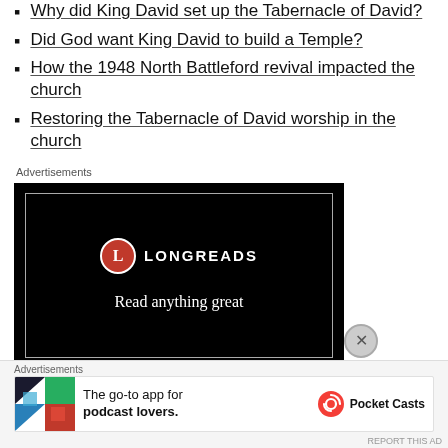Why did King David set up the Tabernacle of David?
Did God want King David to build a Temple?
How the 1948 North Battleford revival impacted the church
Restoring the Tabernacle of David worship in the church
[Figure (screenshot): Longreads advertisement banner with black background, red circle L logo, and text 'Read anything great']
[Figure (screenshot): Pocket Casts advertisement: 'The go-to app for podcast lovers.' with Pocket Casts logo]